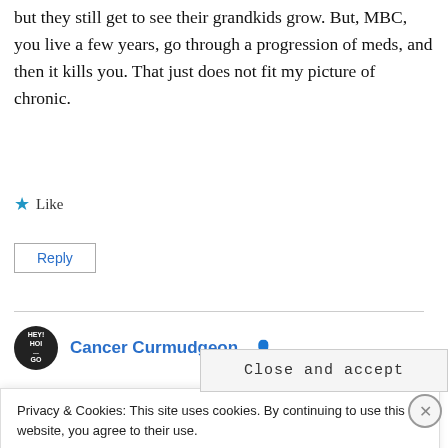but they still get to see their grandkids grow. But, MBC, you live a few years, go through a progression of meds, and then it kills you. That just does not fit my picture of chronic.
★ Like
Reply
Cancer Curmudgeon
Privacy & Cookies: This site uses cookies. By continuing to use this website, you agree to their use.
To find out more, including how to control cookies, see here: Cookie Policy
Close and accept